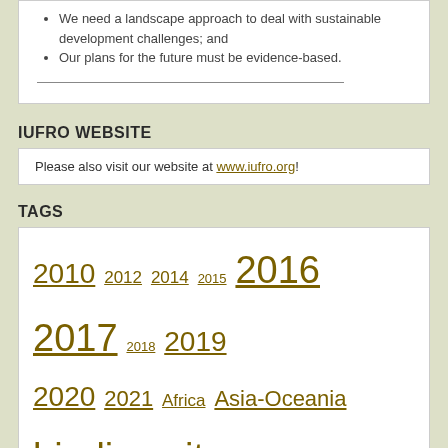We need a landscape approach to deal with sustainable development challenges; and
Our plans for the future must be evidence-based.
IUFRO WEBSITE
Please also visit our website at www.iufro.org!
TAGS
2010 2012 2014 2015 2016 2017 2018 2019 2020 2021 Africa Asia-Oceania biodiversity biodiversity conservation bioeconomy Bonn Challenge climate change climate change mitigation